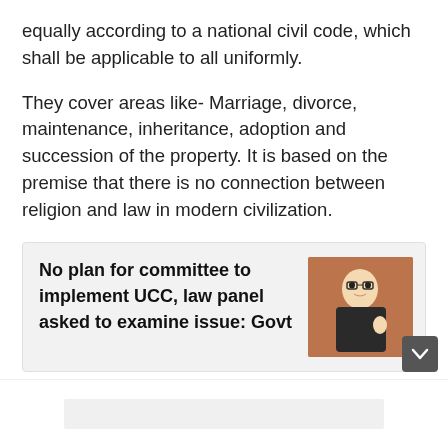equally according to a national civil code, which shall be applicable to all uniformly.
They cover areas like- Marriage, divorce, maintenance, inheritance, adoption and succession of the property. It is based on the premise that there is no connection between religion and law in modern civilization.
[Figure (infographic): Callout box with bold headline text and a photo of a government official. Text reads: No plan for committee to implement UCC, law panel asked to examine issue: Govt]
Reportedly, many other countries including France, United Kingdom (UK), United States (US), Australia, Germany, etc. already have similar laws in place which...